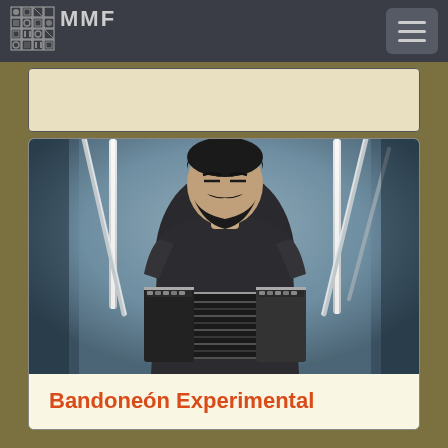MMF — Navigation header with logo and hamburger menu
[Figure (photo): A man with a beard playing a bandoneon (accordion-like instrument) in a moody blue-toned studio setting with vertical lighting strips in the background. He is wearing a dark jacket and looking down at the instrument.]
Bandoneón Experimental
Performance for experimental and electronic Bandoneon.